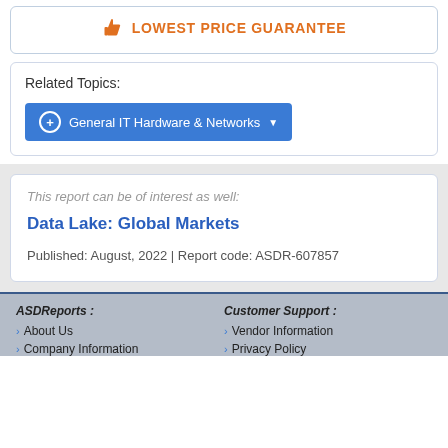LOWEST PRICE GUARANTEE
Related Topics:
General IT Hardware & Networks
This report can be of interest as well:
Data Lake: Global Markets
Published: August, 2022 | Report code: ASDR-607857
ASDReports : About Us Company Information | Customer Support : Vendor Information Privacy Policy